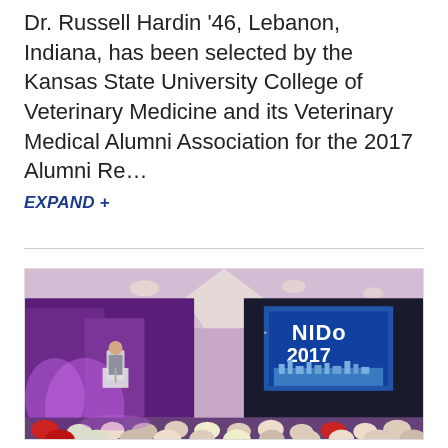Dr. Russell Hardin '46, Lebanon, Indiana, has been selected by the Kansas State University College of Veterinary Medicine and its Veterinary Medical Alumni Association for the 2017 Alumni Re...
EXPAND +
[Figure (photo): A conference hall scene showing a speaker at a podium on a stage illuminated by purple lighting, with a large projection screen displaying 'NIDO 2017' and a city skyline image. An audience is seated in the foreground.]